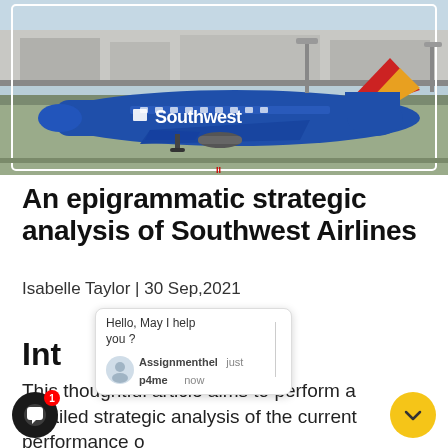[Figure (photo): A Southwest Airlines Boeing 737 on the tarmac at an airport. The aircraft is blue with a red and yellow tail. The word 'Southwest' is written in large letters on the fuselage. Airport infrastructure visible in background.]
An epigrammatic strategic analysis of Southwest Airlines
Isabelle Taylor | 30 Sep,2021
Int
[Figure (screenshot): Chat popup overlay showing 'Hello, May I help you?' message with agent name 'Assignmenthel p4me' and timestamp 'just now']
This thoughtful article aims to perform a detailed strategic analysis of the current performance of